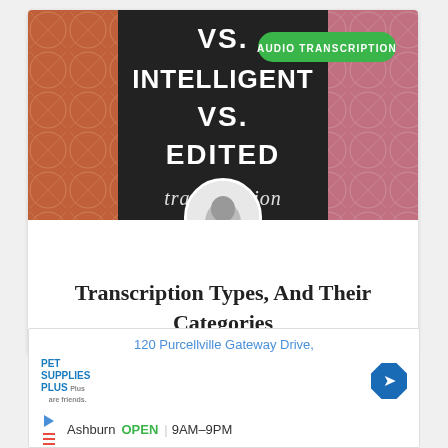[Figure (photo): Blog post hero image showing text 'VS. INTELLIGENT VS. EDITED transcription' on dark background with colorful geometric patterns on sides, and a circular avatar photo of a person overlaid at the bottom center. A green pill badge reads 'AUDIO TRANSCRIPTION' in top right.]
Transcription Types, And Their Categories
[Figure (screenshot): Advertisement for Pet Supplies Plus store in Ashburn showing address '120 Purcellville Gateway Drive,' with store open hours 'OPEN 9AM-9PM', navigation icon, play/close icons, and star rating row.]